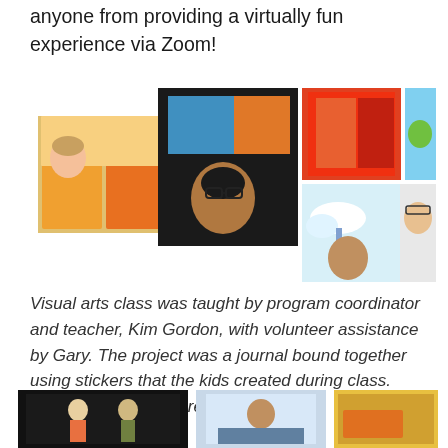anyone from providing a virtually fun experience via Zoom!
[Figure (photo): Collage of photos from a virtual visual arts class on Zoom showing participants holding up colorful artwork including painted journals, stickers, and crafts.]
Visual arts class was taught by program coordinator and teacher, Kim Gordon, with volunteer assistance by Gary. The project was a journal bound together using stickers that the kids created during class. And creative they were!
[Figure (photo): Collage of photos from a virtual class session showing participants in a dance or movement activity via Zoom, with a dark stage background.]